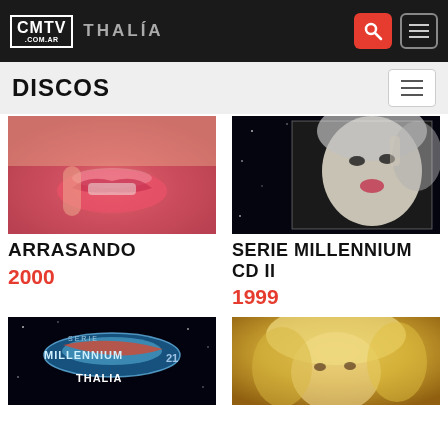CMTV .COM.AR  THALÍA
DISCOS
[Figure (photo): Close-up of a woman's lips and hand — Arrasando album cover]
ARRASANDO
2000
[Figure (photo): Black and white stylized portrait of Thalía — Serie Millennium CD II album cover]
SERIE MILLENNIUM CD II
1999
[Figure (photo): Serie Millennium 21 album cover with planet/space logo and THALIA text]
[Figure (photo): Blonde Thalía portrait — album cover]